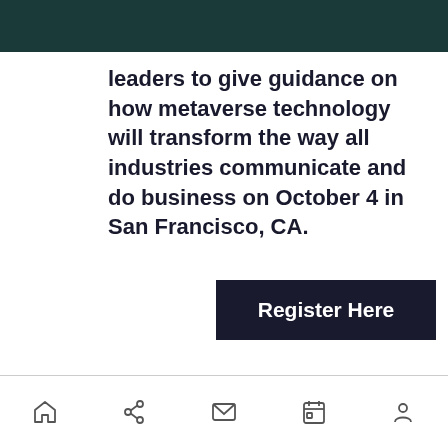leaders to give guidance on how metaverse technology will transform the way all industries communicate and do business on October 4 in San Francisco, CA.
Register Here
From all this data, businesses can generate sales reports with specific delineations, such as “engineering managers at software companies with more than 1,000 employees.”
navigation icons: home, share, mail, calendar, person